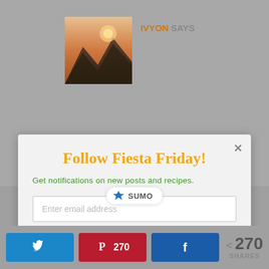[Figure (photo): Mountain landscape avatar photo with warm orange/brown tones used as commenter avatar]
IVYON SAYS
September 12, 2014 at 9:23 pm
Follow Fiesta Friday!
Get notifications on new posts and recipes.
Enter email address
Follow Now
[Figure (logo): SUMO branded pill badge with crown icon]
270 SHARES